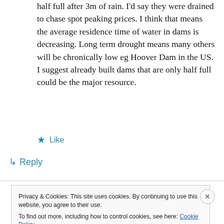half full after 3m of rain. I'd say they were drained to chase spot peaking prices. I think that means the average residence time of water in dams is decreasing. Long term drought means many others will be chronically low eg Hoover Dam in the US. I suggest already built dams that are only half full could be the major resource.
★ Like
↳ Reply
Privacy & Cookies: This site uses cookies. By continuing to use this website, you agree to their use.
To find out more, including how to control cookies, see here: Cookie Policy
Close and accept